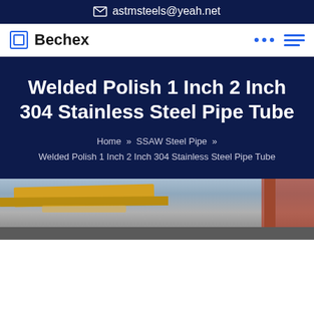astmsteels@yeah.net
Bechex
Welded Polish 1 Inch 2 Inch 304 Stainless Steel Pipe Tube
Home » SSAW Steel Pipe » Welded Polish 1 Inch 2 Inch 304 Stainless Steel Pipe Tube
[Figure (photo): Factory interior showing yellow overhead crane beams and industrial structure]